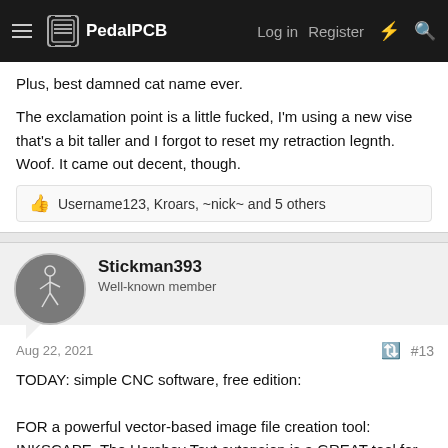PedalPCB — Log in  Register
Plus, best damned cat name ever.
The exclamation point is a little fucked, I'm using a new vise that's a bit taller and I forgot to reset my retraction legnth. Woof. It came out decent, though.
👍 Username123, Kroars, ~nick~ and 5 others
Stickman393
Well-known member
Aug 22, 2021  #13
TODAY: simple CNC software, free edition:

FOR a powerful vector-based image file creation tool: INKSCAPE. The Hershey Text extension is a GREAT tool for creating true single-line fonts.